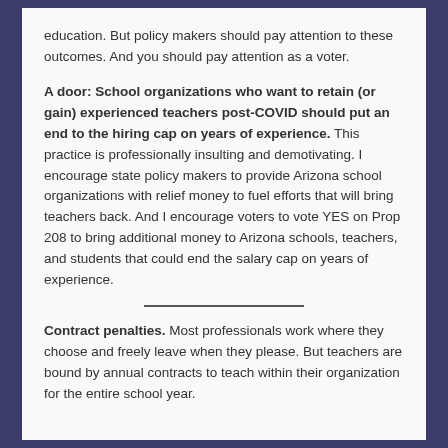education. But policy makers should pay attention to these outcomes. And you should pay attention as a voter.
A door: School organizations who want to retain (or gain) experienced teachers post-COVID should put an end to the hiring cap on years of experience. This practice is professionally insulting and demotivating. I encourage state policy makers to provide Arizona school organizations with relief money to fuel efforts that will bring teachers back. And I encourage voters to vote YES on Prop 208 to bring additional money to Arizona schools, teachers, and students that could end the salary cap on years of experience.
Contract penalties. Most professionals work where they choose and freely leave when they please. But teachers are bound by annual contracts to teach within their organization for the entire school year.